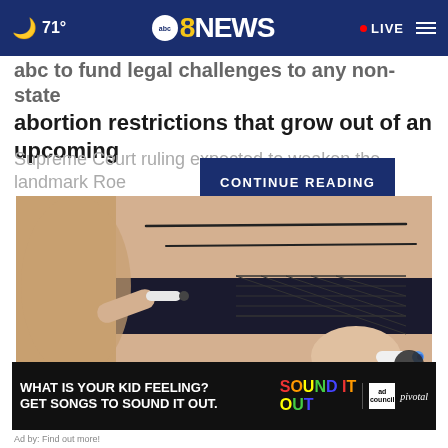71° abc8NEWS • LIVE
abc to fund legal challenges to any non-state abortion restrictions that grow out of an upcoming
Supreme Court ruling expected to weaken the landmark Roe
CONTINUE READING
[Figure (photo): Medical professional drawing surgical marking lines on a patient's abdomen/torso with a marker, patient wearing black underwear]
[Figure (infographic): Advertisement banner: WHAT IS YOUR KID FEELING? GET SONGS TO SOUND IT OUT. Sound It Out ad council pivotal]